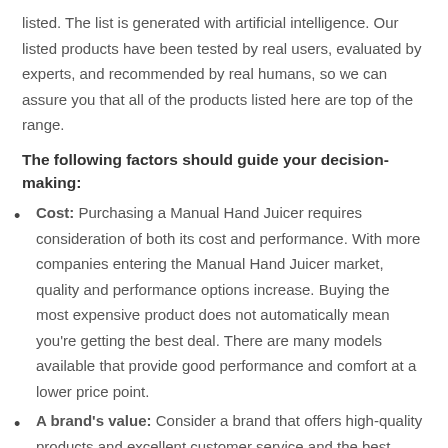listed. The list is generated with artificial intelligence. Our listed products have been tested by real users, evaluated by experts, and recommended by real humans, so we can assure you that all of the products listed here are top of the range.
The following factors should guide your decision-making:
Cost: Purchasing a Manual Hand Juicer requires consideration of both its cost and performance. With more companies entering the Manual Hand Juicer market, quality and performance options increase. Buying the most expensive product does not automatically mean you're getting the best deal. There are many models available that provide good performance and comfort at a lower price point.
A brand's value: Consider a brand that offers high-quality products and excellent customer service and the best value for the Manual Hand Juicer. Brand products are made